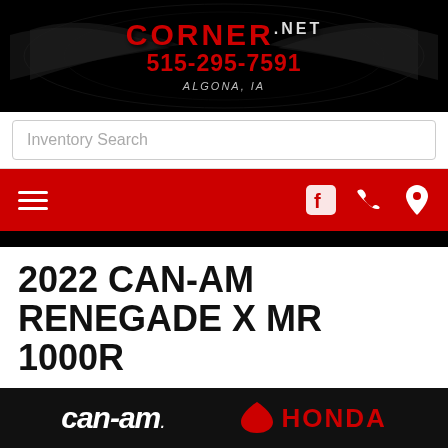CORNER.NET 515-295-7591 ALGONA, IA
Inventory Search
Navigation bar with hamburger menu, Facebook, phone, and location icons
2022 CAN-AM RENEGADE X MR 1000R
New ATVs • Renegade
CALL NOW
can-am. HONDA